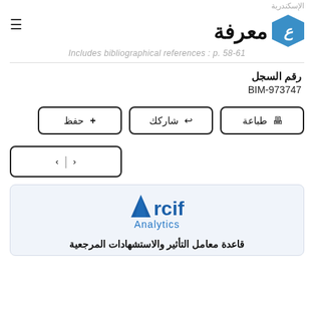الإسكندرية
معرفة
Includes bibliographical references : p. 58-61
رقم السجل
BIM-973747
[Figure (screenshot): Arcif Analytics logo in blue on light blue background with Arabic text at bottom]
قاعدة معامل التأثير والاستشهادات المرجعية